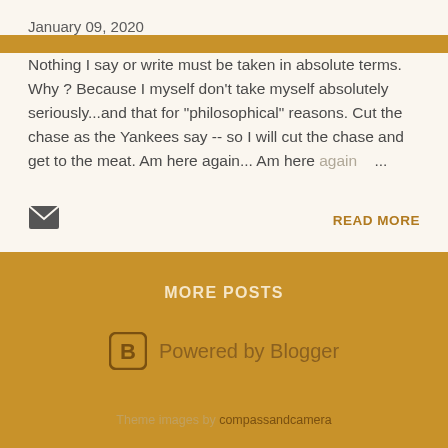January 09, 2020
Nothing I say or write must be taken in absolute terms. Why ? Because I myself don't take myself absolutely seriously...and that for "philosophical" reasons. Cut the chase as the Yankees say -- so I will cut the chase and get to the meat. Am here again... Am here again …
READ MORE
MORE POSTS
Powered by Blogger
Theme images by compassandcamera